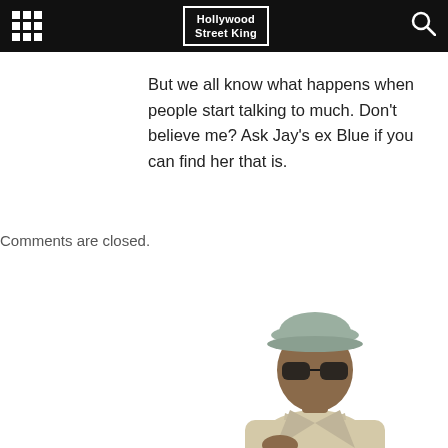Hollywood Street King
But we all know what happens when people start talking to much. Don't believe me? Ask Jay's ex Blue if you can find her that is.
Comments are closed.
[Figure (photo): A man wearing a cap and sunglasses, dressed in a light beige jacket, partially visible from the waist up, positioned in the lower-center/right area of the page.]